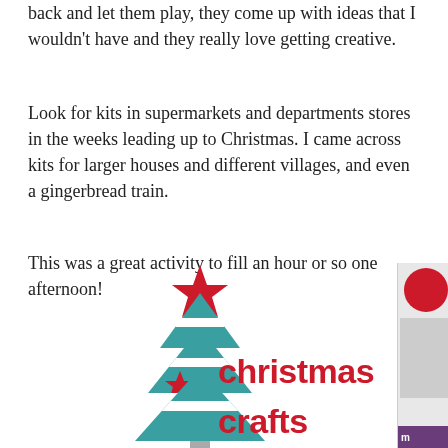back and let them play, they come up with ideas that I wouldn't have and they really love getting creative.
Look for kits in supermarkets and departments stores in the weeks leading up to Christmas. I came across kits for larger houses and different villages, and even a gingerbread train.
This was a great activity to fill an hour or so one afternoon!
[Figure (logo): Christmas Crafts logo with a teal geometric Christmas tree decorated with a red star on top and red star in the middle, with bold red text reading 'christmas crafts']